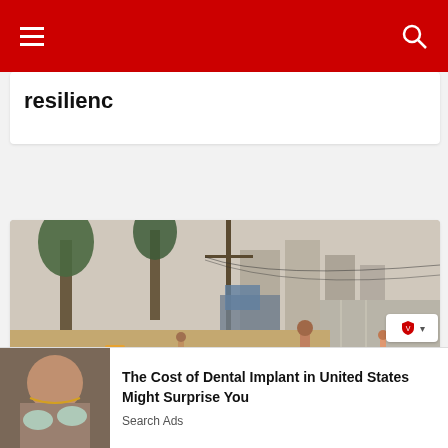Navigation bar with hamburger menu and search icon
resilienc
[Figure (photo): Street scene in Greno West showing people with inflatable pools on the side of a road, with trees, electricity poles, and city buildings in the background]
Greno West, grappling with encroachment
The Cost of Dental Implant in United States Might Surprise You
Search Ads